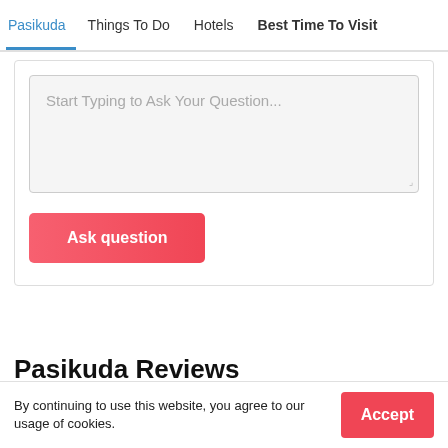Pasikuda  Things To Do  Hotels  Best Time To Visit
Start Typing to Ask Your Question...
Ask question
Pasikuda Reviews
By continuing to use this website, you agree to our usage of cookies.
Accept